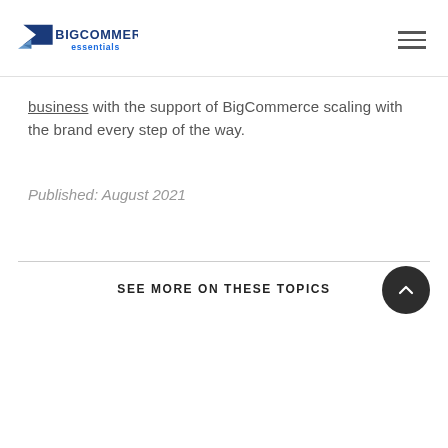BIGCOMMERCE essentials
business with the support of BigCommerce scaling with the brand every step of the way.
Published: August 2021
SEE MORE ON THESE TOPICS